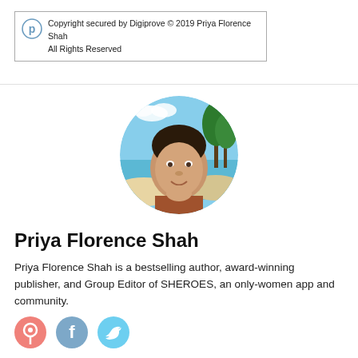Copyright secured by Digiprove © 2019 Priya Florence Shah All Rights Reserved
[Figure (photo): Circular profile photo of Priya Florence Shah with a tropical beach background]
Priya Florence Shah
Priya Florence Shah is a bestselling author, award-winning publisher, and Group Editor of SHEROES, an only-women app and community.
[Figure (other): Social media icons: Pinterest, Facebook, Twitter]